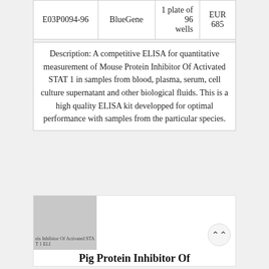|  |  |  |  |
| --- | --- | --- | --- |
| E03P0094-96 | BlueGene | 1 plate of 96 wells | EUR 685 |
Description: A competitive ELISA for quantitative measurement of Mouse Protein Inhibitor Of Activated STAT 1 in samples from blood, plasma, serum, cell culture supernatant and other biological fluids. This is a high quality ELISA kit developped for optimal performance with samples from the particular species.
[Figure (other): Product card showing a grey placeholder image with truncated text 'eis Inhibitor Of Activated STAT 1 ELI' and a scroll-up button, with partial title 'Pig Protein Inhibitor Of' below]